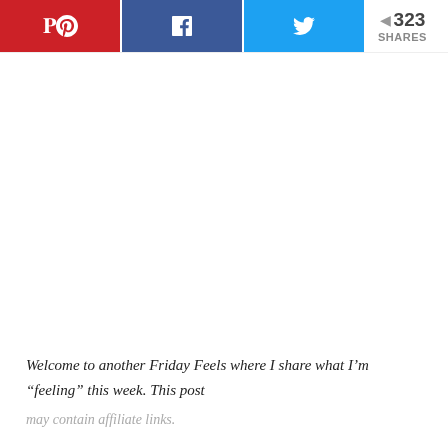[Figure (other): Social share bar with Pinterest (red), Facebook (dark blue), Twitter (light blue) buttons and a share count showing 323 SHARES]
Welcome to another Friday Feels where I share what I'm “feeling” this week. This post may contain affiliate links.